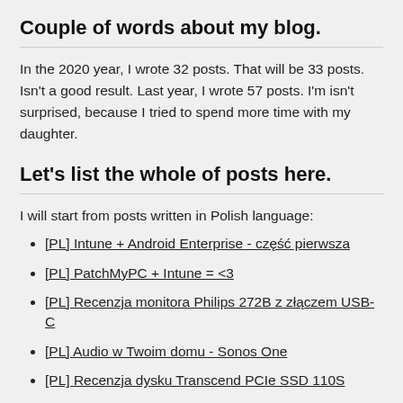Couple of words about my blog.
In the 2020 year, I wrote 32 posts. That will be 33 posts. Isn't a good result. Last year, I wrote 57 posts. I'm isn't surprised, because I tried to spend more time with my daughter.
Let's list the whole of posts here.
I will start from posts written in Polish language:
[PL] Intune + Android Enterprise - część pierwsza
[PL] PatchMyPC + Intune = <3
[PL] Recenzja monitora Philips 272B z złączem USB-C
[PL] Audio w Twoim domu - Sonos One
[PL] Recenzja dysku Transcend PCIe SSD 110S